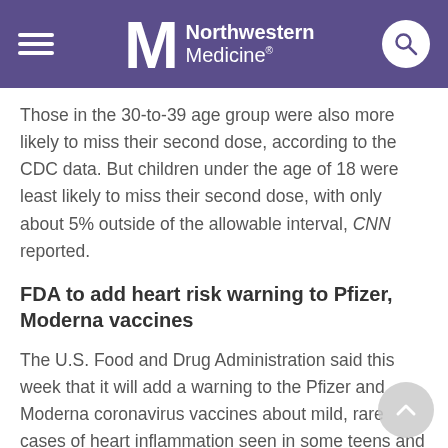Northwestern Medicine
Those in the 30-to-39 age group were also more likely to miss their second dose, according to the CDC data. But children under the age of 18 were least likely to miss their second dose, with only about 5% outside of the allowable interval, CNN reported.
FDA to add heart risk warning to Pfizer, Moderna vaccines
The U.S. Food and Drug Administration said this week that it will add a warning to the Pfizer and Moderna coronavirus vaccines about mild, rare cases of heart inflammation seen in some teens and young adults following vaccination.
The news came after a meeting of an advisory